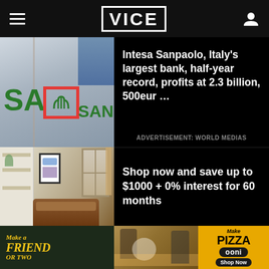VICE
[Figure (photo): Intesa Sanpaolo bank branch exterior sign showing green text and red-bordered logo]
Intesa Sanpaolo, Italy's largest bank, half-year record, profits at 2.3 billion, 500eur ...
ADVERTISEMENT: WORLD MEDIAS
[Figure (photo): Interior room with shelving, artwork, and brown leather sofa near a window]
Shop now and save up to $1000 + 0% interest for 60 months
[Figure (infographic): Ooni pizza oven banner ad: 'Make a Friend or Two' on left, central photo of people with dog and pizza, 'Make Pizza - ooni - Shop Now' on right]